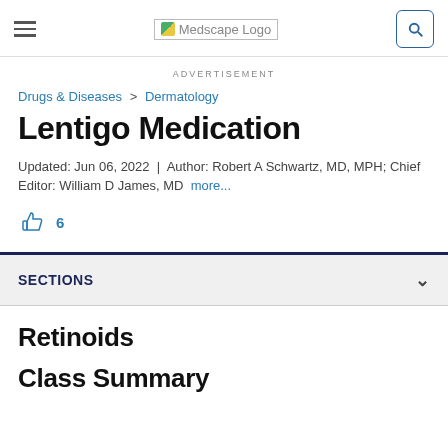Medscape Logo
ADVERTISEMENT
Drugs & Diseases > Dermatology
Lentigo Medication
Updated: Jun 06, 2022 | Author: Robert A Schwartz, MD, MPH; Chief Editor: William D James, MD more...
6
SECTIONS
Retinoids
Class Summary